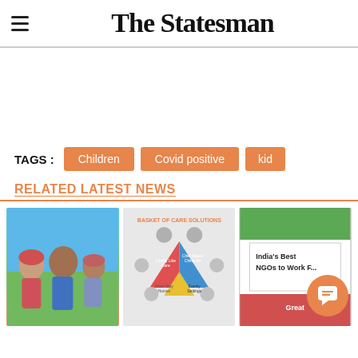The Statesman
TAGS : Children  Covid positive  kid
RELATED LATEST NEWS
[Figure (photo): Three related news article thumbnail images: children photo, basket of care solutions diagram, India's best NGOs infographic]
[Figure (other): Orange chat button icon at bottom right]